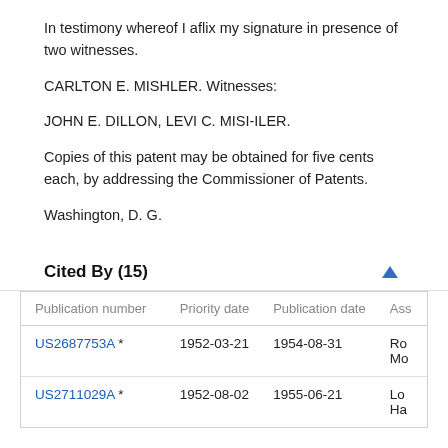In testimony whereof I aflix my signature in presence of two witnesses.
CARLTON E. MISHLER. Witnesses:
JOHN E. DILLON, LEVI C. MISI-ILER.
Copies of this patent may be obtained for five cents each, by addressing the Commissioner of Patents.
Washington, D. G.
Cited By (15)
| Publication number | Priority date | Publication date | Ass |
| --- | --- | --- | --- |
| US2687753A * | 1952-03-21 | 1954-08-31 | Rob Mo |
| US2711029A * | 1952-08-02 | 1955-06-21 | Lor Ha |